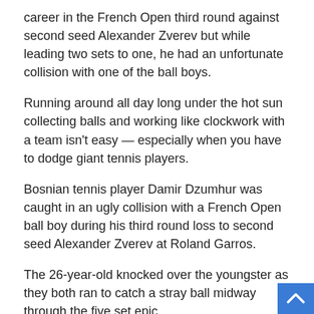career in the French Open third round against second seed Alexander Zverev but while leading two sets to one, he had an unfortunate collision with one of the ball boys.
Running around all day long under the hot sun collecting balls and working like clockwork with a team isn't easy — especially when you have to dodge giant tennis players.
Bosnian tennis player Damir Dzumhur was caught in an ugly collision with a French Open ball boy during his third round loss to second seed Alexander Zverev at Roland Garros.
The 26-year-old knocked over the youngster as they both ran to catch a stray ball midway through the five set epic.
Dzumhur rushed to check if the boy, lying in pain on the clay, was okay before officials escorted him to the side of the court